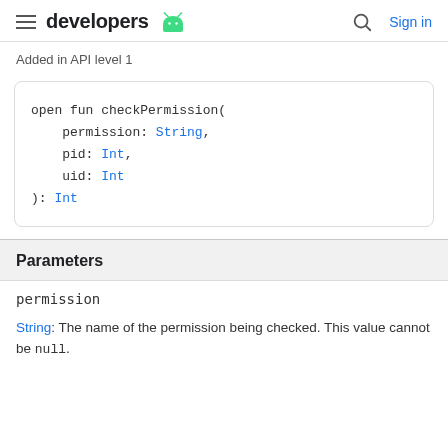developers  [android logo]  [search]  Sign in
Added in API level 1
Parameters
permission
String: The name of the permission being checked. This value cannot be null.